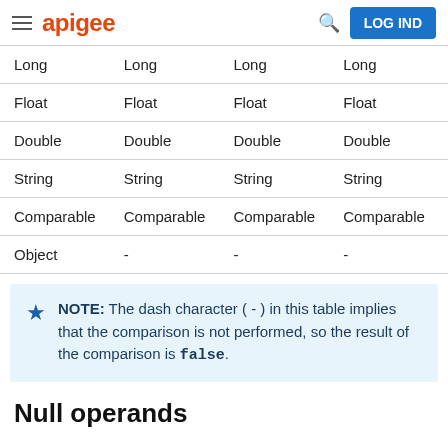apigee   LOG IND
| Long | Long | Long | Long | Float |
| Float | Float | Float | Float | Float |
| Double | Double | Double | Double | Double |
| String | String | String | String | String |
| Comparable | Comparable | Comparable | Comparable | Compa… |
| Object | - | - | - | - |
NOTE: The dash character ( - ) in this table implies that the comparison is not performed, so the result of the comparison is false.
Null operands